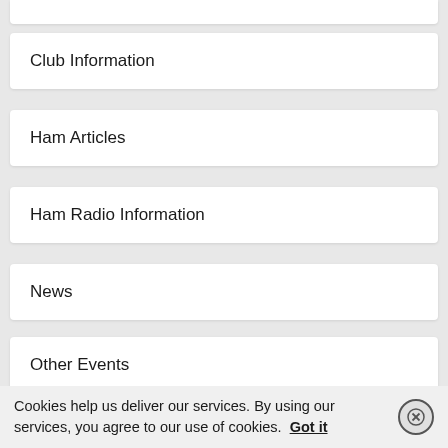Club Information
Ham Articles
Ham Radio Information
News
Other Events
Tailgate Deals
Cookies help us deliver our services. By using our services, you agree to our use of cookies. Got it